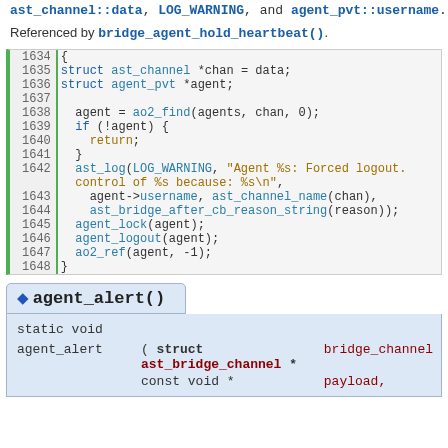ast_channel::data, LOG_WARNING, and agent_pvt::username.
Referenced by bridge_agent_hold_heartbeat().
[Figure (screenshot): Code block showing lines 1634-1648 of C source code with syntax highlighting. Contains struct declarations, ao2_find call, if statement, ast_log warning, and agent operations including agent_lock, agent_logout, and ao2_ref.]
agent_alert()
static void
|  |  |  |
| --- | --- | --- |
| agent_alert | ( struct ast_bridge_channel * | bridge_channel |
|  | const void * | payload, |